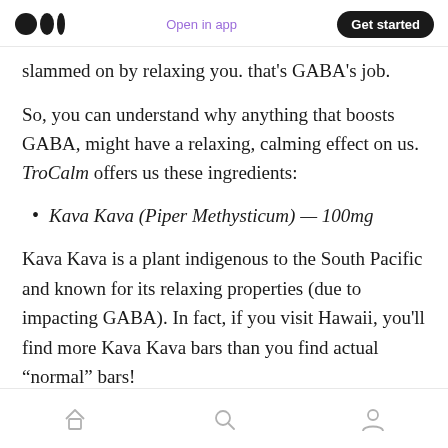Medium logo | Open in app | Get started
slammed on by relaxing you. that's GABA's job.
So, you can understand why anything that boosts GABA, might have a relaxing, calming effect on us. TroCalm offers us these ingredients:
Kava Kava (Piper Methysticum) — 100mg
Kava Kava is a plant indigenous to the South Pacific and known for its relaxing properties (due to impacting GABA). In fact, if you visit Hawaii, you'll find more Kava Kava bars than you find actual “normal” bars!
Home | Search | Profile